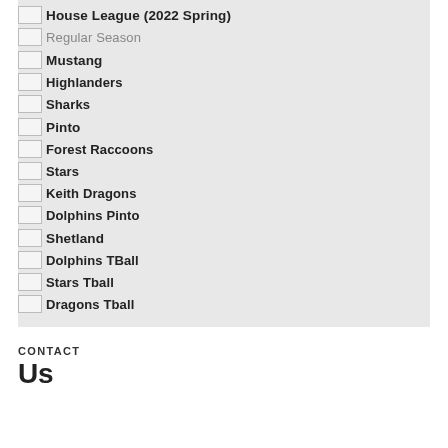House League (2022 Spring)
Regular Season
Mustang
Highlanders
Sharks
Pinto
Forest Raccoons
Stars
Keith Dragons
Dolphins Pinto
Shetland
Dolphins TBall
Stars Tball
Dragons Tball
CONTACT
Us